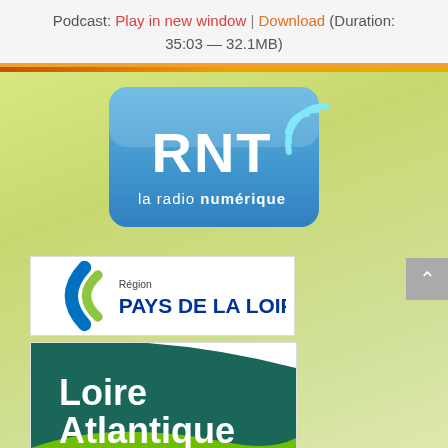Podcast: Play in new window | Download (Duration: 35:03 — 32.1MB)
[Figure (logo): RNT - la radio numérique logo: blue rounded rectangle with white RNT text and wifi/radio signal arc]
[Figure (logo): Région Pays de la Loire logo: blue and green parenthesis-like curves with text 'Région PAYS DE LA LOIRE']
[Figure (logo): Loire Atlantique logo: dark teal curved banner shape with white text 'Loire Atlantique' and green wave at bottom]